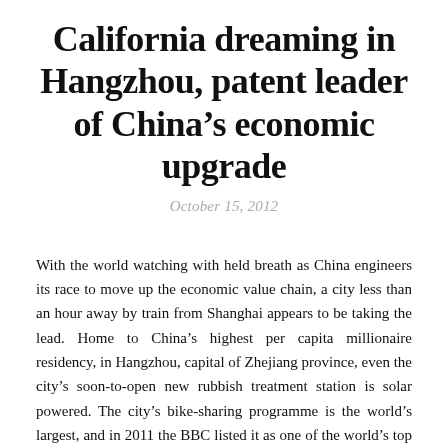California dreaming in Hangzhou, patent leader of China's economic upgrade
October 15, 2012
With the world watching with held breath as China engineers its race to move up the economic value chain, a city less than an hour away by train from Shanghai appears to be taking the lead. Home to China's highest per capita millionaire residency, in Hangzhou, capital of Zhejiang province, even the city's soon-to-open new rubbish treatment station is solar powered. The city's bike-sharing programme is the world's largest, and in 2011 the BBC listed it as one of the world's top eight public bike initiatives. Patently standing out, Hangzhou ranked first among China's provincial